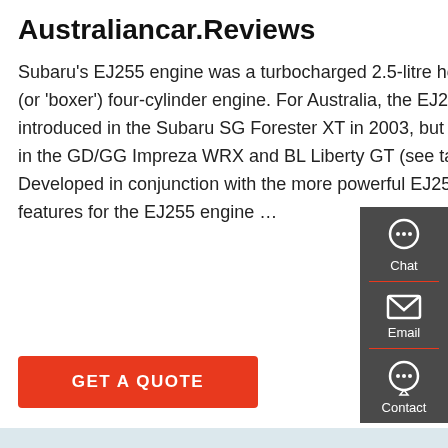Australiancar.Reviews
Subaru's EJ255 engine was a turbocharged 2.5-litre horizontally-opposed (or 'boxer') four-cylinder engine. For Australia, the EJ255 engine was introduced in the Subaru SG Forester XT in 2003, but subsequently offered in the GD/GG Impreza WRX and BL Liberty GT (see table below). Developed in conjunction with the more powerful EJ257 engine, key features for the EJ255 engine …
[Figure (other): Red button labeled GET A QUOTE]
[Figure (other): Dark sidebar with Chat, Email, and Contact icons]
[Figure (photo): Photograph of a teal/green heavy-duty truck (Volvo) on a road with power lines and trees in the background]